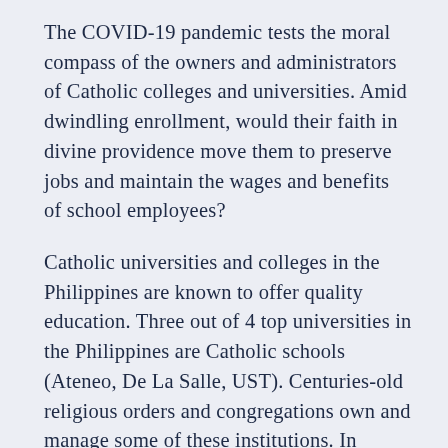The COVID-19 pandemic tests the moral compass of the owners and administrators of Catholic colleges and universities. Amid dwindling enrollment, would their faith in divine providence move them to preserve jobs and maintain the wages and benefits of school employees?
Catholic universities and colleges in the Philippines are known to offer quality education. Three out of 4 top universities in the Philippines are Catholic schools (Ateneo, De La Salle, UST). Centuries-old religious orders and congregations own and manage some of these institutions. In general, the Catholic Church views Catholic schools as places where the love of Christ is felt and experienced. Thus, it is not enough for them to advance knowledge, dole